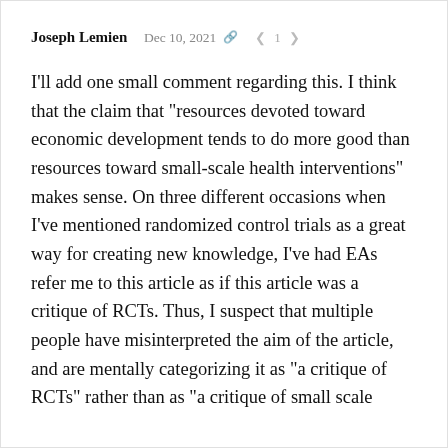Joseph Lemien  Dec 10, 2021  < 1 >
I'll add one small comment regarding this. I think that the claim that "resources devoted toward economic development tends to do more good than resources toward small-scale health interventions" makes sense. On three different occasions when I've mentioned randomized control trials as a great way for creating new knowledge, I've had EAs refer me to this article as if this article was a critique of RCTs. Thus, I suspect that multiple people have misinterpreted the aim of the article, and are mentally categorizing it as "a critique of RCTs" rather than as "a critique of small scale